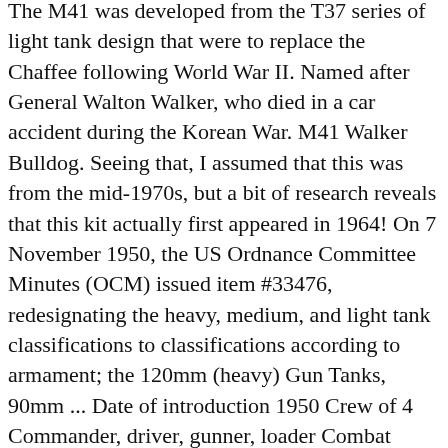The M41 was developed from the T37 series of light tank design that were to replace the Chaffee following World War II. Named after General Walton Walker, who died in a car accident during the Korean War. M41 Walker Bulldog. Seeing that, I assumed that this was from the mid-1970s, but a bit of research reveals that this kit actually first appeared in 1964! On 7 November 1950, the US Ordnance Committee Minutes (OCM) issued item #33476, redesignating the heavy, medium, and light tank classifications to classifications according to armament; the 120mm (heavy) Gun Tanks, 90mm ... Date of introduction 1950 Crew of 4 Commander, driver, gunner, loader Combat weight 25.9 tons Engine 500 H.P. The drive, engine, transmission, and auxiliary engine also were used in the M44/M52 155 howitzer. Late production model. M41A3 Walker Bulldog. Beneath